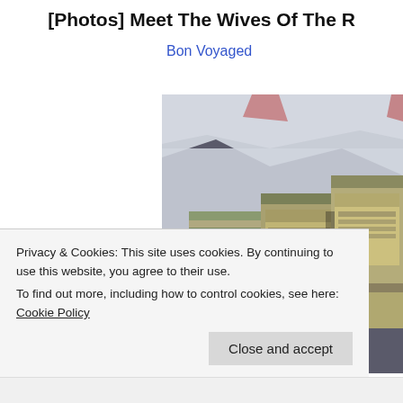[Photos] Meet The Wives Of The R…
Bon Voyaged
[Figure (photo): Photo of stacks of US dollar bills bundled together in a white plastic bag or wrapping, viewed from above at an angle. The image is somewhat grainy/low quality.]
Privacy & Cookies: This site uses cookies. By continuing to use this website, you agree to their use.
To find out more, including how to control cookies, see here: Cookie Policy